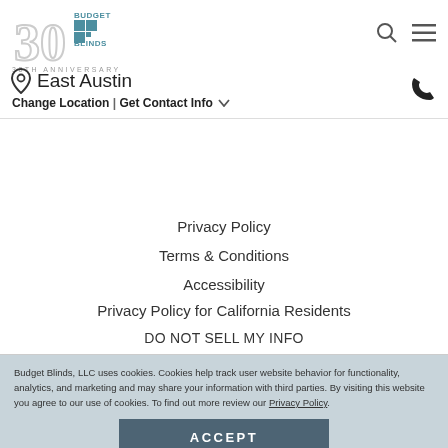Budget Blinds 30th Anniversary logo, East Austin location, Change Location | Get Contact Info
Privacy Policy
Terms & Conditions
Accessibility
Privacy Policy for California Residents
DO NOT SELL MY INFO
Budget Blinds, LLC uses cookies. Cookies help track user website behavior for functionality, analytics, and marketing and may share your information with third parties. By visiting this website you agree to our use of cookies. To find out more review our Privacy Policy.